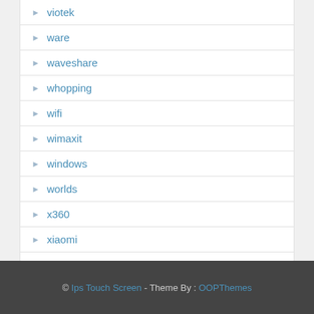viotek
ware
waveshare
whopping
wifi
wimaxit
windows
worlds
x360
xiaomi
zoll
© Ips Touch Screen - Theme By : OOPThemes